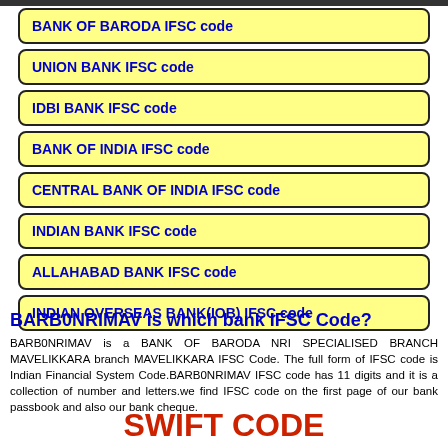BANK OF BARODA IFSC code
UNION BANK IFSC code
IDBI BANK IFSC code
BANK OF INDIA IFSC code
CENTRAL BANK OF INDIA IFSC code
INDIAN BANK IFSC code
ALLAHABAD BANK IFSC code
INDIAN OVERSEAS BANK(IOB) IFSC code
BARB0NRIMAV is which bank IFSC Code?
BARB0NRIMAV is a BANK OF BARODA NRI SPECIALISED BRANCH MAVELIKKARA branch MAVELIKKARA IFSC Code. The full form of IFSC code is Indian Financial System Code.BARB0NRIMAV IFSC code has 11 digits and it is a collection of number and letters.we find IFSC code on the first page of our bank passbook and also our bank cheque.
SWIFT CODE